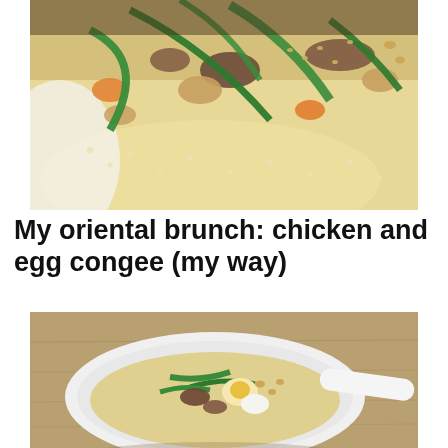[Figure (photo): Close-up overhead photo of chicken and egg congee (rice porridge) in a white bowl, topped with green onions, mushrooms, chicken pieces, and sesame seeds]
My oriental brunch: chicken and egg congee (my way)
[Figure (photo): Overhead photo of a white bowl containing chicken and egg congee topped with green onions, egg, mushrooms, and peanuts, with a spoon, on a wooden surface]